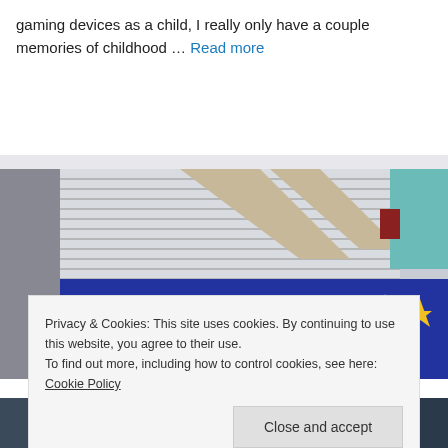gaming devices as a child, I really only have a couple memories of childhood … Read more
[Figure (photo): Photo of a blue banner/sign with yellow text reading partially visible 'AGO' and yellow stars, above a toy and game fair display, with white shelving visible in the background]
Privacy & Cookies: This site uses cookies. By continuing to use this website, you agree to their use.
To find out more, including how to control cookies, see here:
Cookie Policy
Close and accept
[Figure (photo): Bottom strip showing toy fair signage: left side reads 'TOY & GAME FAIR', right side reads 'TOY GAME' partial]